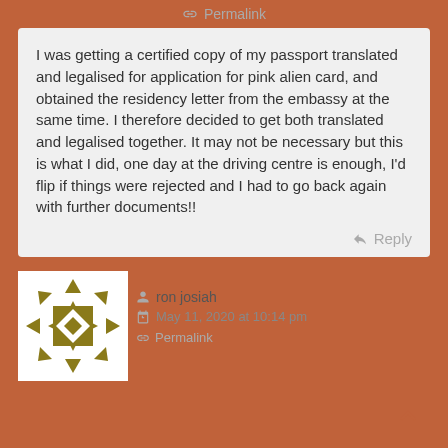Permalink
I was getting a certified copy of my passport translated and legalised for application for pink alien card, and obtained the residency letter from the embassy at the same time. I therefore decided to get both translated and legalised together. It may not be necessary but this is what I did, one day at the driving centre is enough, I'd flip if things were rejected and I had to go back again with further documents!!
Reply
[Figure (illustration): User avatar showing a decorative geometric pattern with diamond shapes and arrows in olive/dark yellow color]
ron josiah
May 11, 2020 at 10:14 pm
Permalink